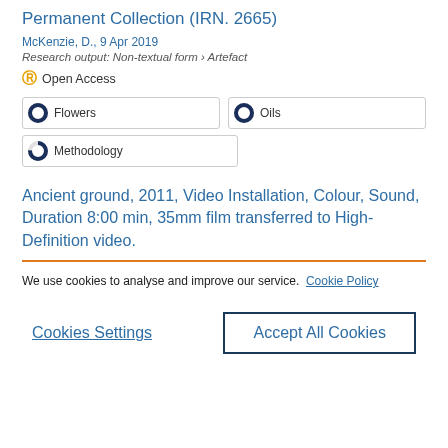Permanent Collection (IRN. 2665)
McKenzie, D., 9 Apr 2019
Research output: Non-textual form › Artefact
Open Access
Flowers
Oils
Methodology
Ancient ground, 2011, Video Installation, Colour, Sound, Duration 8:00 min, 35mm film transferred to High-Definition video.
We use cookies to analyse and improve our service. Cookie Policy
Cookies Settings
Accept All Cookies